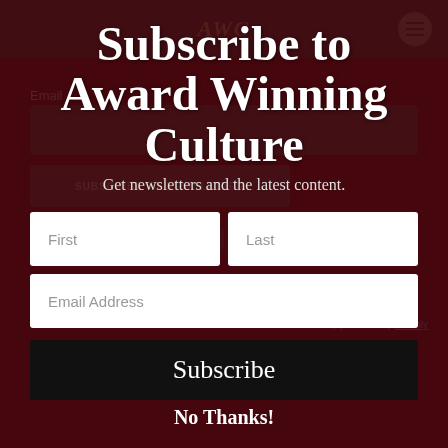Subscribe to Award Winning Culture
Get newsletters and the latest content.
First
Last
Email Address
Subscribe
No Thanks!